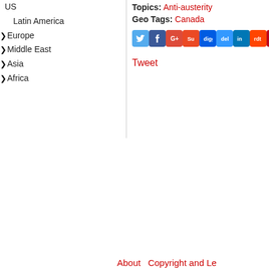US
Latin America
Europe
Middle East
Asia
Africa
Topics: Anti-austerity
Geo Tags: Canada
[Figure (other): Row of social media sharing icons: Twitter, Facebook, Google+, StumbleUpon, Digg, Delicious, LinkedIn, Reddit, Pinterest, Android, Yahoo, Email]
Tweet
About    Copyright and Le...